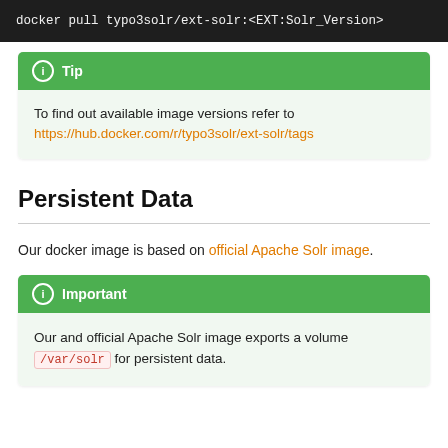docker pull typo3solr/ext-solr:<EXT:Solr_Version>
Tip
To find out available image versions refer to https://hub.docker.com/r/typo3solr/ext-solr/tags
Persistent Data
Our docker image is based on official Apache Solr image.
Important
Our and official Apache Solr image exports a volume /var/solr for persistent data.